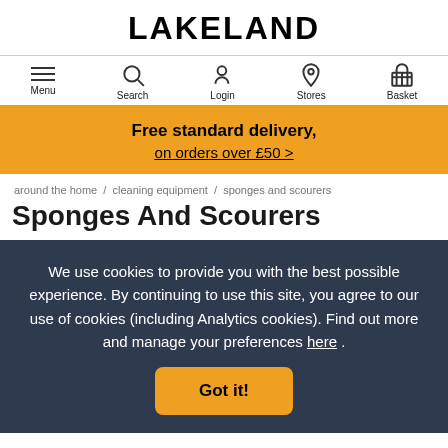LAKELAND
[Figure (screenshot): Navigation bar with Menu, Search, Login, Stores, Basket icons]
Free standard delivery, on orders over £50 >
around the home / cleaning equipment / sponges and scourers
Sponges And Scourers
We use cookies to provide you with the best possible experience. By continuing to use this site, you agree to our use of cookies (including Analytics cookies). Find out more and manage your preferences here .
Got it!